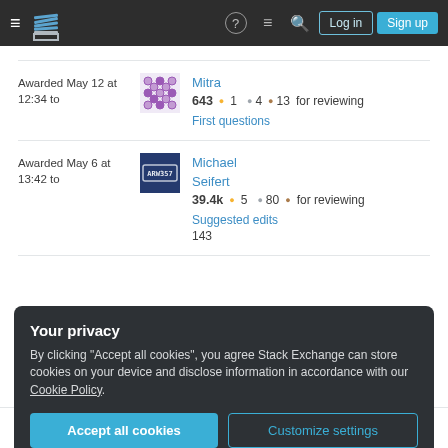Stack Exchange navigation bar with Log in and Sign up buttons
Awarded May 12 at 12:34 to
Mitra 643 ● 1 ● 4 ● 13 for reviewing First questions
Awarded May 6 at 13:42 to
Michael Seifert 39.4k ● 5 ● 80 ● 143 for reviewing Suggested edits
Your privacy
By clicking "Accept all cookies", you agree Stack Exchange can store cookies on your device and disclose information in accordance with our Cookie Policy.
Accept all cookies   Customize settings
Awarded Apr 7 at